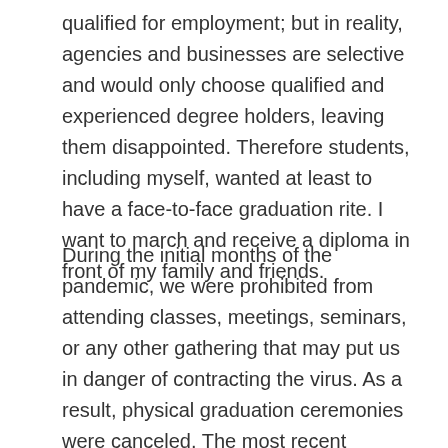qualified for employment; but in reality, agencies and businesses are selective and would only choose qualified and experienced degree holders, leaving them disappointed. Therefore students, including myself, wanted at least to have a face-to-face graduation rite. I want to march and receive a diploma in front of my family and friends.
During the initial months of the pandemic, we were prohibited from attending classes, meetings, seminars, or any other gathering that may put us in danger of contracting the virus. As a result, physical graduation ceremonies were canceled. The most recent graduation ceremonies, including our school, the University of Baguio, were held online.